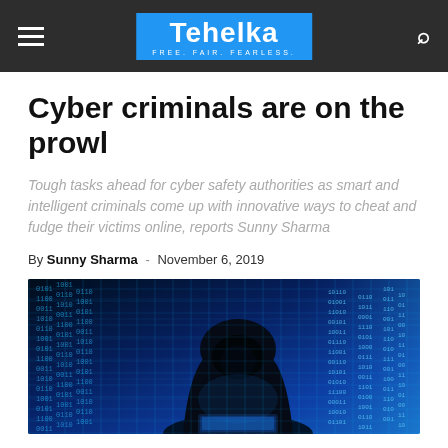Tehelka — FREE. FAIR. FEARLESS.
Cyber criminals are on the prowl
Tough tasks ahead for cyber safety authorities as smart and intelligent criminals come up with innovative ways to cheat and fudge their victims online, reports Sunny Sharma
By Sunny Sharma - November 6, 2019
[Figure (photo): A hooded hacker figure silhouetted against a blue digital matrix/code background, sitting at a laptop]